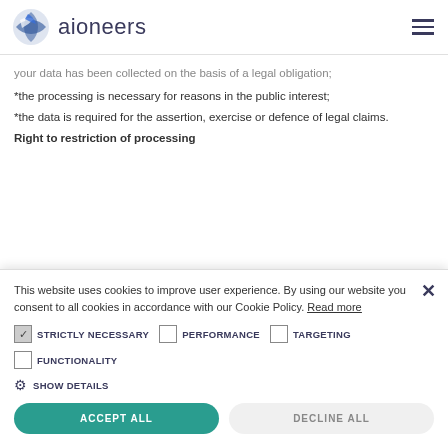aioneers
your data has been collected on the basis of a legal obligation;
*the processing is necessary for reasons in the public interest;
*the data is required for the assertion, exercise or defence of legal claims.
Right to restriction of processing
This website uses cookies to improve user experience. By using our website you consent to all cookies in accordance with our Cookie Policy. Read more
STRICTLY NECESSARY   PERFORMANCE   TARGETING
FUNCTIONALITY
SHOW DETAILS
ACCEPT ALL   DECLINE ALL